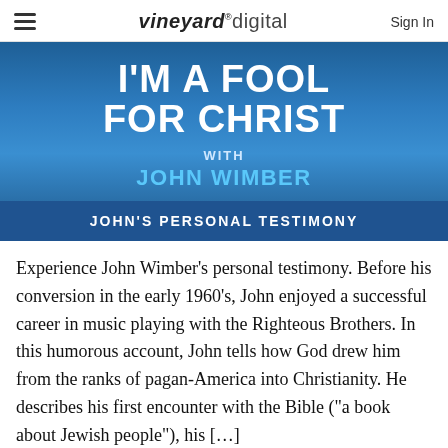vineyard digital | Sign In
I'M A FOOL FOR CHRIST
WITH JOHN WIMBER
JOHN'S PERSONAL TESTIMONY
Experience John Wimber’s personal testimony. Before his conversion in the early 1960’s, John enjoyed a successful career in music playing with the Righteous Brothers. In this humorous account, John tells how God drew him from the ranks of pagan-America into Christianity. He describes his first encounter with the Bible (“a book about Jewish people”), his […]